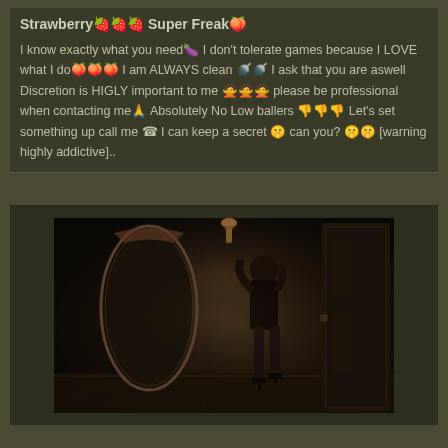Strawberry🍓🍓🍓 Super Freak🍑
I know exactly what you need🍆 I don't tolerate games because I LOVE what I do🍑🍑🍑 I am ALWAYS clean 🚿🚿 I ask that you are aswell Discretion is HIGLY important to me 🙅🙅🙅 please be professional when contacting me🙏 Absolutely No Low ballers 👎👎👎 Let's set something up call me ☎ I can keep a secret 🤫 can you? 🤫🤫 [warning highly addictive]..
[Figure (photo): Dark photograph of a woman in lingerie and stockings posing in an ornate room with a large decorative mirror and wooden door]